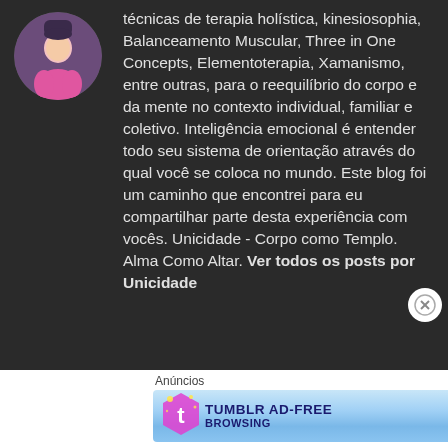[Figure (photo): Circular avatar photo of a person in pink/magenta clothing]
técnicas de terapia holística, kinesiosophia, Balanceamento Muscular, Three in One Concepts, Elementoterapia, Xamanismo, entre outras, para o reequilíbrio do corpo e da mente no contexto individual, familiar e coletivo. Inteligência emocional é entender todo seu sistema de orientação através do qual você se coloca no mundo. Este blog foi um caminho que encontrei para eu compartilhar parte desta experiência com vocês. Unicidade - Corpo como Templo. Alma Como Altar. Ver todos os posts por Unicidade
Anúncios
[Figure (screenshot): Tumblr Ad-Free Browsing advertisement banner showing $39.99 a year or $4.99 a month]